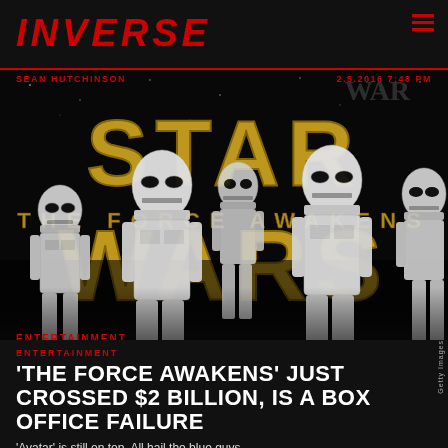INVERSE
SEAN HUTCHINSON    2.5.2016 7:48 PM
[Figure (photo): Star Wars: The Force Awakens promotional image showing multiple Stormtroopers in white armor standing in front of the Star Wars The Force Awakens logo with gold lettering on a dark background]
ENTERTAINMENT
'THE FORCE AWAKENS' JUST CROSSED $2 BILLION, IS A BOX OFFICE FAILURE
'Avatar' is still on top. All hail the blue guys.
Getty Images
Star Wars: The Force Awakens is expected to cross